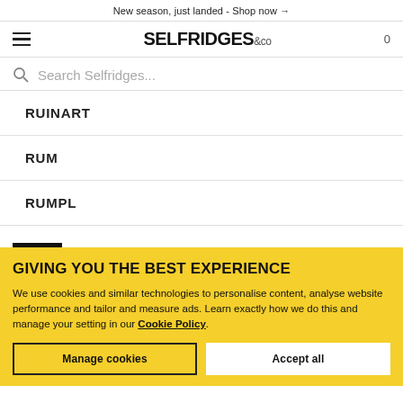New season, just landed - Shop now →
[Figure (logo): Selfridges & Co logo with hamburger menu and cart icon 0]
Search Selfridges...
RUINART
RUM
RUMPL
GIVING YOU THE BEST EXPERIENCE
We use cookies and similar technologies to personalise content, analyse website performance and tailor and measure ads. Learn exactly how we do this and manage your setting in our Cookie Policy.
Manage cookies   Accept all